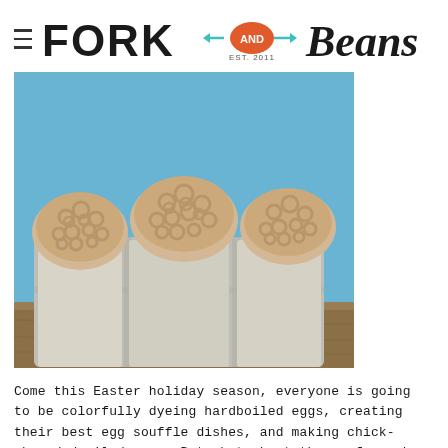FORK AND Beans EST. 2011
[Figure (photo): Cheerio cereal clusters shaped like nests, displayed in a cardboard egg carton on a wooden surface with blue background.]
Come this Easter holiday season, everyone is going to be colorfully dyeing hardboiled eggs, creating their best egg souffle dishes, and making chick-shaped deviled eggs. But what about those of us who don't eat eggs? Where is our